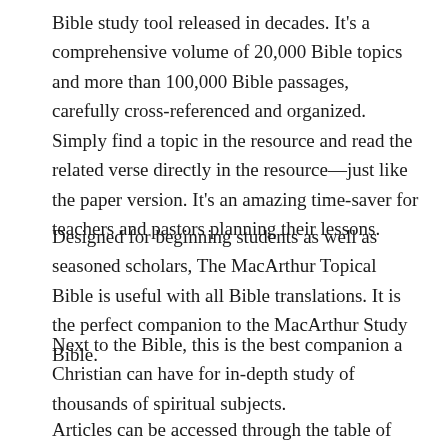Bible study tool released in decades. It's a comprehensive volume of 20,000 Bible topics and more than 100,000 Bible passages, carefully cross-referenced and organized. Simply find a topic in the resource and read the related verse directly in the resource—just like the paper version. It's an amazing time-saver for teachers and pastors planning their lessons.
Designed for beginning students as well as seasoned scholars, The MacArthur Topical Bible is useful with all Bible translations. It is the perfect companion to the MacArthur Study Bible.
Next to the Bible, this is the best companion a Christian can have for in-depth study of thousands of spiritual subjects.
Articles can be accessed through the table of contents,